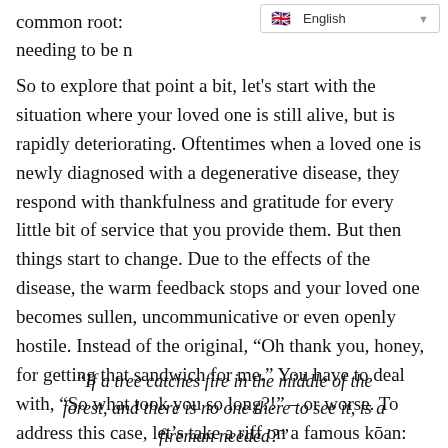common root: needing to be n
So to explore that point a bit, let's start with the situation where your loved one is still alive, but is rapidly deteriorating. Oftentimes when a loved one is newly diagnosed with a degenerative disease, they respond with thankfulness and gratitude for every little bit of service that you provide them. But then things start to change. Due to the effects of the disease, the warm feedback stops and your loved one becomes sullen, uncommunicative or even openly hostile. Instead of the original, “Oh thank you, honey, for getting that sandwich for me.” You have to deal with, “So what took you so long?!” – or worse. To address this case, let’s take a riff on a famous kōan:
“If a tree catches fire in the middle of the forest, and there is no one there to see it, is a fireman needed?”